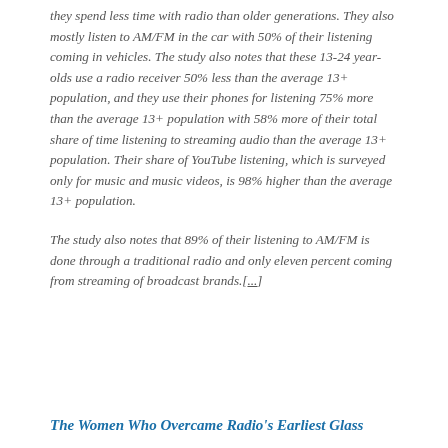they spend less time with radio than older generations. They also mostly listen to AM/FM in the car with 50% of their listening coming in vehicles. The study also notes that these 13-24 year-olds use a radio receiver 50% less than the average 13+ population, and they use their phones for listening 75% more than the average 13+ population with 58% more of their total share of time listening to streaming audio than the average 13+ population. Their share of YouTube listening, which is surveyed only for music and music videos, is 98% higher than the average 13+ population.
The study also notes that 89% of their listening to AM/FM is done through a traditional radio and only eleven percent coming from streaming of broadcast brands.[...]
The Women Who Overcame Radio's Earliest Glass